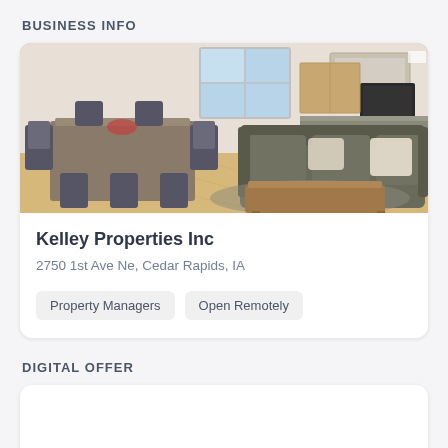BUSINESS INFO
[Figure (photo): Interior photo of a living room and kitchen area with a gray sofa, wooden coffee table, dining table with chairs, and kitchen visible in background.]
Kelley Properties Inc
2750 1st Ave Ne, Cedar Rapids, IA
Property Managers
Open Remotely
DIGITAL OFFER